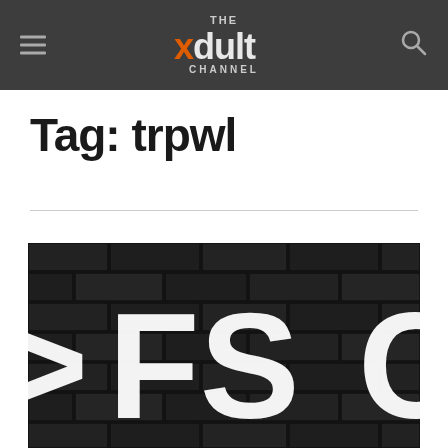The Xdult Channel — site header with navigation
Tag: trpwl
[Figure (photo): Close-up of large white bold letters on a dark textured brick wall background, partially cropped. Letters visible appear to be 'FS' or similar.]